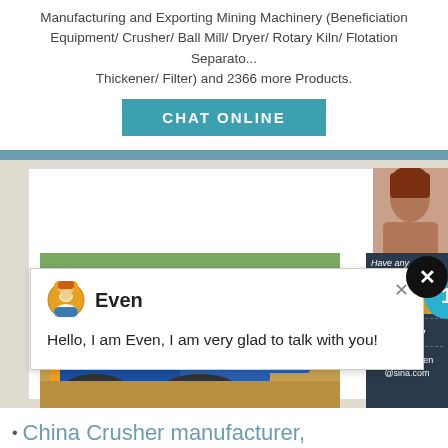Manufacturing and Exporting Mining Machinery (Beneficiation Equipment/ Crusher/ Ball Mill/ Dryer/ Rotary Kiln/ Flotation Separato... Thickener/ Filter) and 2366 more Products.
CHAT ONLINE
[Figure (screenshot): Chat popup with avatar icon, name 'Even', and message 'Hello, I am Even, I am very glad to talk with you!' overlaid on a webpage showing mining machinery content. A close (X) circle button appears top-right. The background shows a mining site image with blue/yellow machinery. A dark sidebar panel shows 'Have any requests, click here', a Quote button, Enquiry section, and email limingjlmofen@sina.com. A teal notification badge shows '1'.]
China Crusher manufacturer,